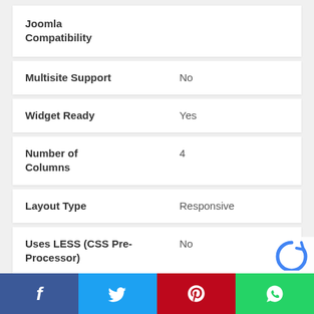| Feature | Value |
| --- | --- |
| Joomla Compatibility |  |
| Multisite Support | No |
| Widget Ready | Yes |
| Number of Columns | 4 |
| Layout Type | Responsive |
| Uses LESS (CSS Pre-Processor) | No |
| Uses SASS (Professional grade | No |